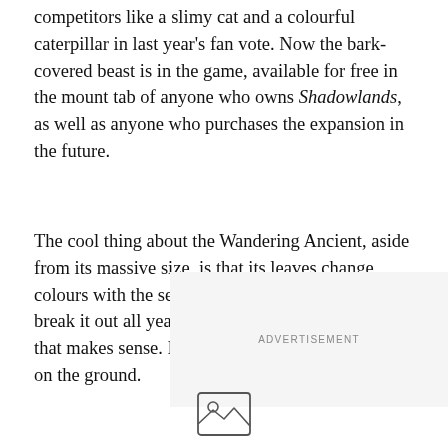competitors like a slimy cat and a colourful caterpillar in last year's fan vote. Now the bark-covered beast is in the game, available for free in the mount tab of anyone who owns Shadowlands, as well as anyone who purchases the expansion in the future.
The cool thing about the Wandering Ancient, aside from its massive size, is that its leaves change colours with the seasons, giving players a reason to break it out all year long. Sadly it does not fly, but that makes sense. If trees could fly, there'd be none on the ground.
[Figure (other): Advertisement placeholder box with 'ADVERTISEMENT' label and an image placeholder icon below]